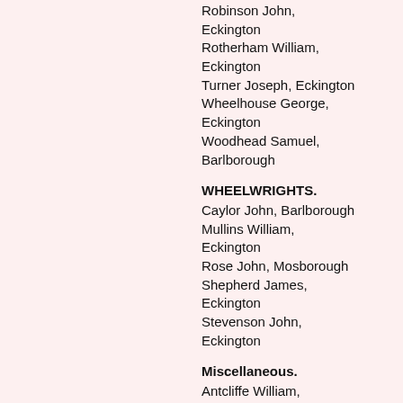Robinson John, Eckington
Rotherham William, Eckington
Turner Joseph, Eckington
Wheelhouse George, Eckington
Woodhead Samuel, Barlborough
WHEELWRIGHTS.
Caylor John, Barlborough
Mullins William, Eckington
Rose John, Mosborough
Shepherd James, Eckington
Stevenson John, Eckington
Miscellaneous.
Antcliffe William, millwright, Eckington
Booth Joseph, wood tnrner, Eckington
Camm William, farrier, Barlborough
Carr Bennett, druggist, Eckington